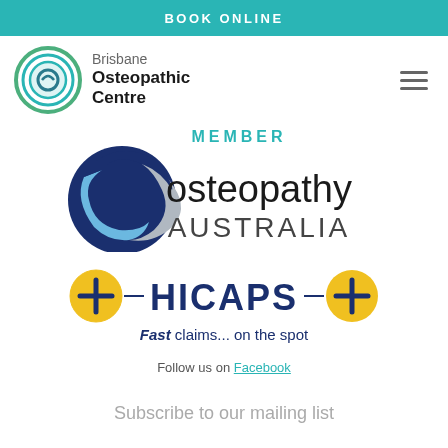BOOK ONLINE
[Figure (logo): Brisbane Osteopathic Centre logo with circular green emblem and text 'Brisbane Osteopathic Centre']
[Figure (logo): Osteopathy Australia member logo with blue swirl and text 'MEMBER osteopathy AUSTRALIA']
[Figure (logo): HICAPS logo with yellow plus icons and text 'Fast claims... on the spot']
Follow us on Facebook
Subscribe to our mailing list